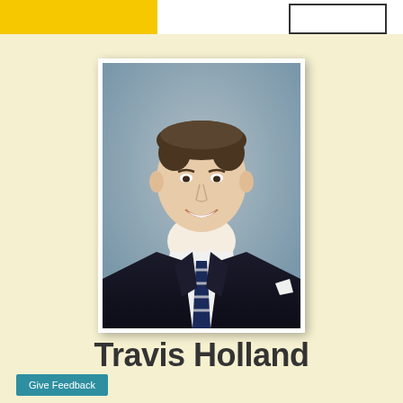[Figure (photo): Professional headshot of Travis Holland, a man in a dark suit with a navy and white striped tie, smiling against a blue-grey background]
Travis Holland
Give Feedback